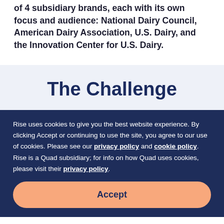of 4 subsidiary brands, each with its own focus and audience: National Dairy Council, American Dairy Association, U.S. Dairy, and the Innovation Center for U.S. Dairy.
The Challenge
Rise uses cookies to give you the best website experience. By clicking Accept or continuing to use the site, you agree to our use of cookies. Please see our privacy policy and cookie policy. Rise is a Quad subsidiary; for info on how Quad uses cookies, please visit their privacy policy.
Accept